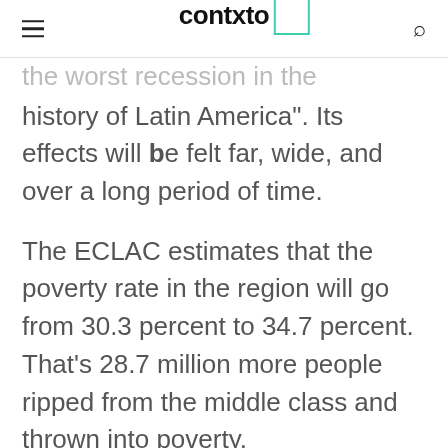contxto
the worst recession in the history of Latin America". Its effects will be felt far, wide, and over a long period of time.
The ECLAC estimates that the poverty rate in the region will go from 30.3 percent to 34.7 percent. That’s 28.7 million more people ripped from the middle class and thrown into poverty.